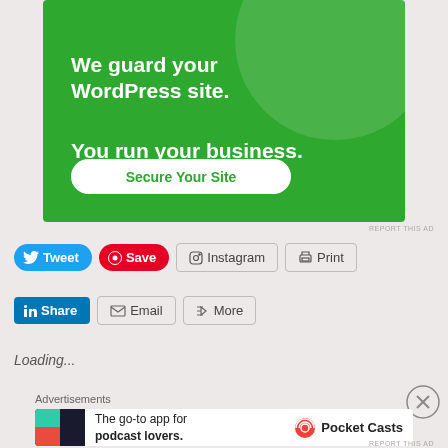[Figure (illustration): Green advertisement banner for WordPress site security service with text 'We guard your WordPress site. You run your business.' and a 'Secure Your Site' button]
REPORT THIS AD
[Figure (infographic): Social sharing buttons row 1: Tweet, Save, Instagram, Print]
[Figure (infographic): Social sharing buttons row 2: Share (LinkedIn), Email, More]
Loading...
[Figure (illustration): Close/dismiss circular X button]
Advertisements
[Figure (illustration): Pocket Casts advertisement: 'The go-to app for podcast lovers.' with Pocket Casts logo]